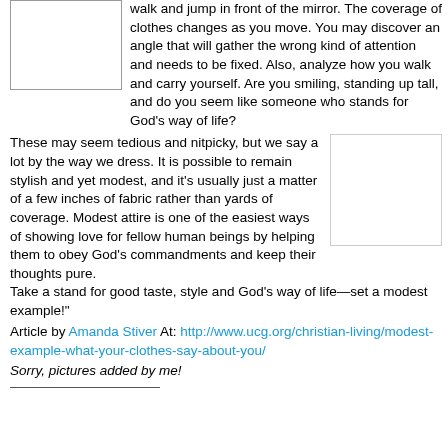[Figure (illustration): A blank/white rectangular image placeholder with a thin border, positioned at top left.]
walk and jump in front of the mirror. The coverage of clothes changes as you move. You may discover an angle that will gather the wrong kind of attention and needs to be fixed. Also, analyze how you walk and carry yourself. Are you smiling, standing up tall, and do you seem like someone who stands for God's way of life?
These may seem tedious and nitpicky, but we say a lot by the way we dress. It is possible to remain stylish and yet modest, and it's usually just a matter of a few inches of fabric rather than yards of coverage. Modest attire is one of the easiest ways of showing love for fellow human beings by helping them to obey God's commandments and keep their thoughts pure.
Take a stand for good taste, style and God's way of life—set a modest example!"
[Figure (illustration): A blank/white rectangular image placeholder with a thin border, positioned at the right side of the main text block.]
Article by Amanda Stiver At: http://www.ucg.org/christian-living/modest-example-what-your-clothes-say-about-you/
Sorry, pictures added by me!